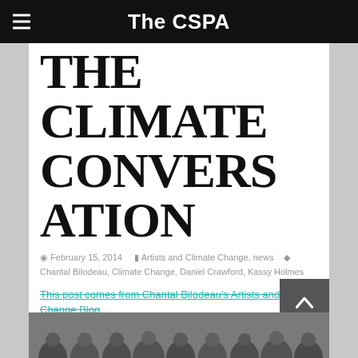The CSPA
THE CLIMATE CONVERSATION
February 15, 2014   Artists and Climate Change, news   Chantal Bilodeau, Climate Change, Daniel Crawford, Kassy Holmes
This post comes from Chantal Bilodeau's Artists and Climate Change Blog
[Figure (photo): Crowd of people with hands raised to their faces/ears, group photograph]